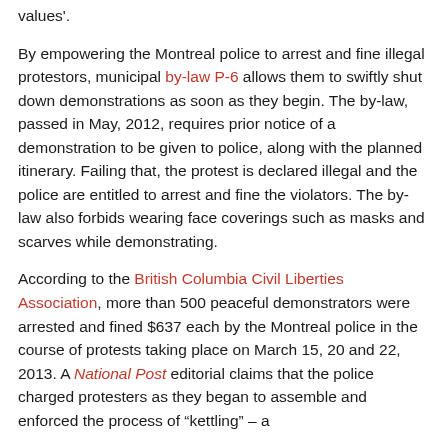values'.
By empowering the Montreal police to arrest and fine illegal protestors, municipal by-law P-6 allows them to swiftly shut down demonstrations as soon as they begin. The by-law, passed in May, 2012, requires prior notice of a demonstration to be given to police, along with the planned itinerary. Failing that, the protest is declared illegal and the police are entitled to arrest and fine the violators. The by-law also forbids wearing face coverings such as masks and scarves while demonstrating.
According to the British Columbia Civil Liberties Association, more than 500 peaceful demonstrators were arrested and fined $637 each by the Montreal police in the course of protests taking place on March 15, 20 and 22, 2013. A National Post editorial claims that the police charged protesters as they began to assemble and enforced the process of "kettling" – a